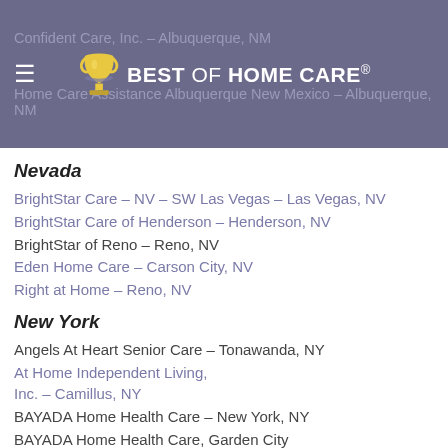Confident Care, Inc. – Albuquerque, NM | Home Care Assistance Albuquerque New Mexico – Albuquerque, NM
[Figure (logo): Best of Home Care logo with trophy icon and hamburger menu icon on purple/mauve background]
Nevada
BrightStar Care – NV – SW Las Vegas – Las Vegas, NV
BrightStar Care of Henderson – Henderson, NV
BrightStar of Reno – Reno, NV
Eden Home Care – Carson City, NV
Right at Home – Reno, NV
New York
Angels At Heart Senior Care – Tonawanda, NY
At Home Independent Living, Inc. – Camillus, NY
BAYADA Home Health Care – New York, NY
BAYADA Home Health Care, Garden City Skilled, NY (GCS – 49) – Garden City, NY